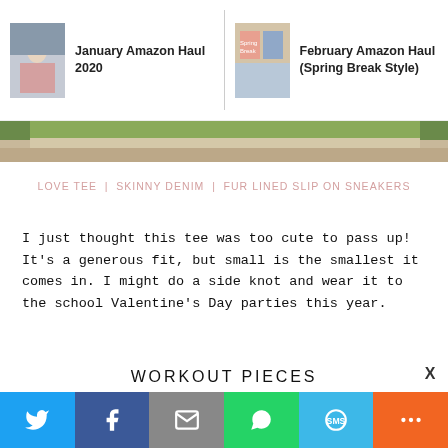[Figure (screenshot): Navigation bar with two article preview thumbnails: 'January Amazon Haul 2020' and 'February Amazon Haul (Spring Break Style)']
[Figure (photo): Partial green/outdoor image at top, bottom edge visible]
LOVE TEE | SKINNY DENIM | FUR LINED SLIP ON SNEAKERS
I just thought this tee was too cute to pass up! It's a generous fit, but small is the smallest it comes in. I might do a side knot and wear it to the school Valentine's Day parties this year.
WORKOUT PIECES
[Figure (photo): Ceiling fan photo, brown blades on white ceiling]
[Figure (screenshot): Social share bar with Twitter, Facebook, Email, WhatsApp, SMS, and More buttons]